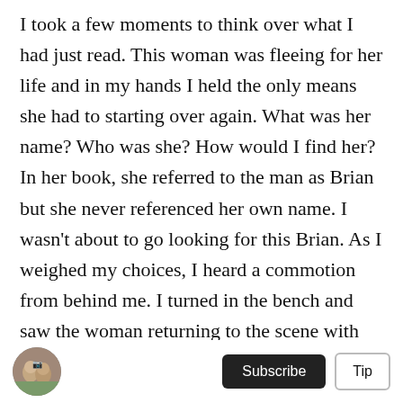I took a few moments to think over what I had just read. This woman was fleeing for her life and in my hands I held the only means she had to starting over again. What was her name? Who was she? How would I find her? In her book, she referred to the man as Brian but she never referenced her own name. I wasn't about to go looking for this Brian. As I weighed my choices, I heard a commotion from behind me. I turned in the bench and saw the woman returning to the scene with two police officers with her. She was sobbing and pointing to the area where the altercation had occurred. I listened to her describe the events that happened. She had a good
[Figure (photo): Small circular avatar photo of two people]
Subscribe  Tip